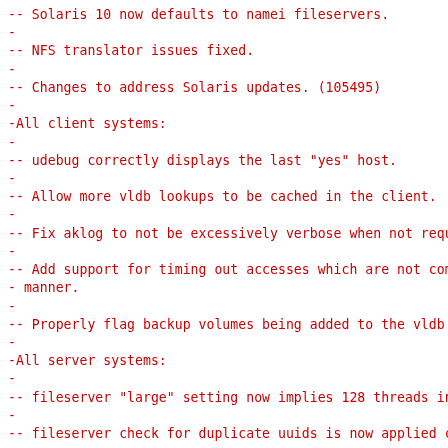-- Solaris 10 now defaults to namei fileservers.
-
-- NFS translator issues fixed.
-
-- Changes to address Solaris updates. (105495)
-
-All client systems:
-
-- udebug correctly displays the last "yes" host.
-
-- Allow more vldb lookups to be cached in the client.
-
-- Fix aklog to not be excessively verbose when not requeste
-
-- Add support for timing out accesses which are not complet
-   manner.
-
-- Properly flag backup volumes being added to the vldb by v
-
-All server systems:
-
-- fileserver "large" setting now implies 128 threads instea
-
-- fileserver check for duplicate uuids is now applied corre
-
-- Newer xbsa APIs are supported for TSM integration in butc
-
-- salvager avoids corrupting length of directory objects. (
-
-- volserver avoids a race during volume release so a volume
-   appear to be offline. (107258)
-